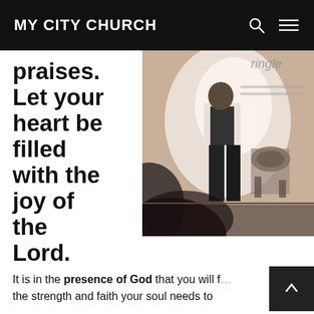MY CITY CHURCH
praises. Let your heart be filled with the joy of the Lord.
[Figure (photo): A person standing on a church stage under stage lighting, with drum kit visible in the background and partial silhouette in foreground]
It is in the presence of God that you will find the strength and faith your soul needs to